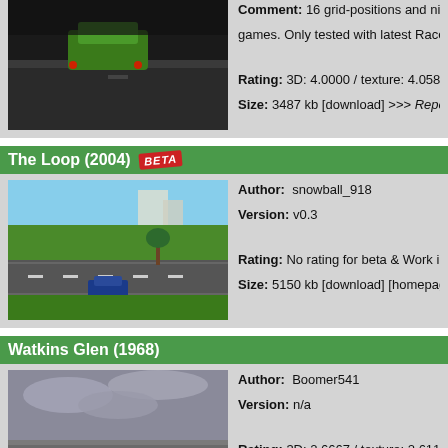[Figure (screenshot): Racing game screenshot showing green car on dark track]
Comment: 16 grid-positions and nice at... games. Only tested with latest Racer be...
Rating: 3D: 4.0000 / texture: 4.0588 / To...
Size: 3487 kb [download] >>> Report as...
The Loop (2004) BETA
[Figure (screenshot): Racing game screenshot showing aerial view of track with palm trees and blue car]
Author: snowball_918
Version: v0.3
Rating: No rating for beta & Work in Pro...
Size: 5150 kb [download] [homepage] >>...
Watkins Glen (1968)
[Figure (screenshot): Racing game screenshot showing overcast sky and track]
Author: Boomer541
Version: n/a
Rating: 3D: 2.6667 / texture: 2.6111 / T...